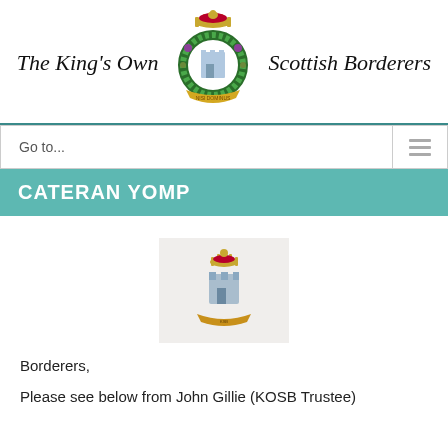The King's Own Scottish Borderers
Go to...
CATERAN YOMP
[Figure (logo): KOSB regimental badge/crest on a light background]
Borderers,
Please see below from John Gillie (KOSB Trustee)